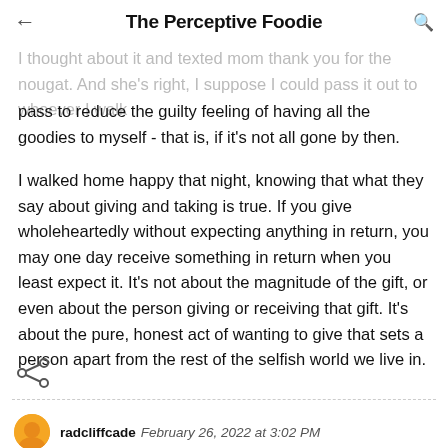The Perceptive Foodie
I thought about it and texted mom thank nougat. And she's right, I suppose I could pass it out to whoever I walk pass to reduce the guilty feeling of having all the goodies to myself - that is, if it's not all gone by then.
I walked home happy that night, knowing that what they say about giving and taking is true. If you give wholeheartedly without expecting anything in return, you may one day receive something in return when you least expect it. It's not about the magnitude of the gift, or even about the person giving or receiving that gift. It's about the pure, honest act of wanting to give that sets a person apart from the rest of the selfish world we live in.
radcliffcade  February 26, 2022 at 3:02 PM